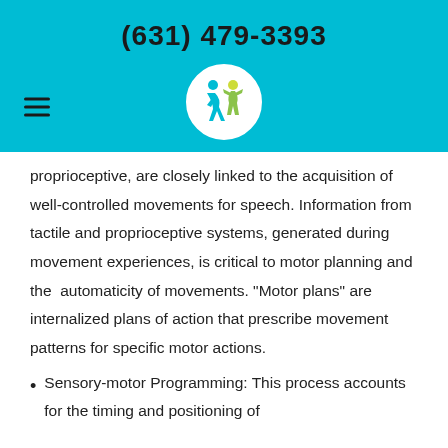(631) 479-3393
[Figure (logo): Circular logo with a figure/person graphic and text, on a cyan/teal background header bar]
proprioceptive, are closely linked to the acquisition of well-controlled movements for speech. Information from tactile and proprioceptive systems, generated during movement experiences, is critical to motor planning and the automaticity of movements. "Motor plans" are internalized plans of action that prescribe movement patterns for specific motor actions.
Sensory-motor Programming: This process accounts for the timing and positioning of